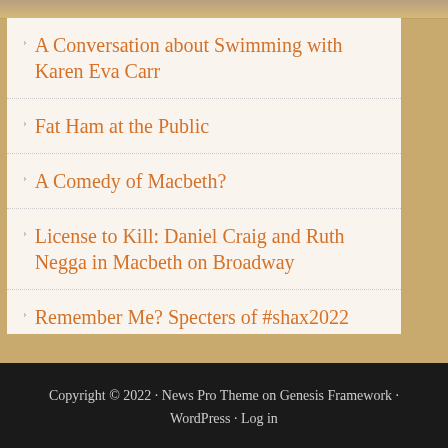A Conversation about Swimming with Karen Eva Carr
Fat Ham at the Public
A Comedy of Macbeth?
License to Kill: Daniel Craig and Ruth Negga in Macbeth on Broadway
Remember Me? Specters of #shax2022
Copyright © 2022 · News Pro Theme on Genesis Framework · WordPress · Log in